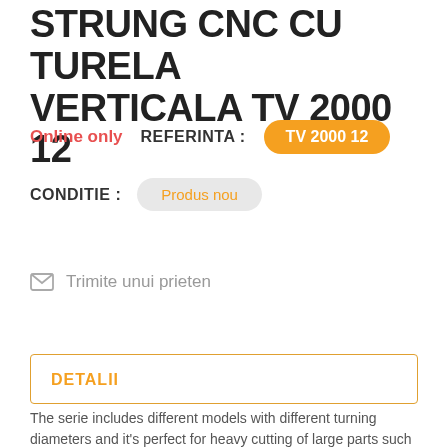STRUNG CNC CU TURELA VERTICALA TV 2000 12
Online only   REFERINTA :   TV 2000 12
CONDITIE :   Produs nou
Trimite unui prieten
DETALII
The serie includes different models with different turning diameters and it's perfect for heavy cutting of large parts such as rings, gears and car and